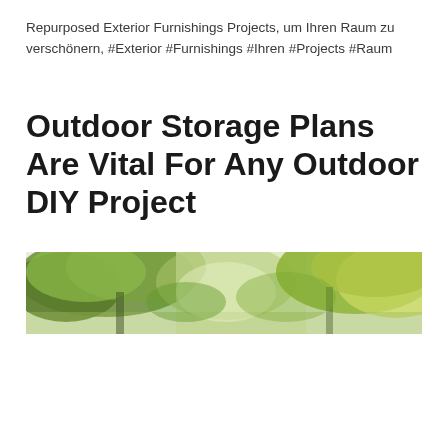Repurposed Exterior Furnishings Projects, um Ihren Raum zu verschönern, #Exterior #Furnishings #Ihren #Projects #Raum
Outdoor Storage Plans Are Vital For Any Outdoor DIY Project
[Figure (photo): Wide banner photograph of an outdoor garden/nature scene showing trees with green and yellow-green foliage in bright daylight. The image appears to show a garden or park area with dense tree canopy.]